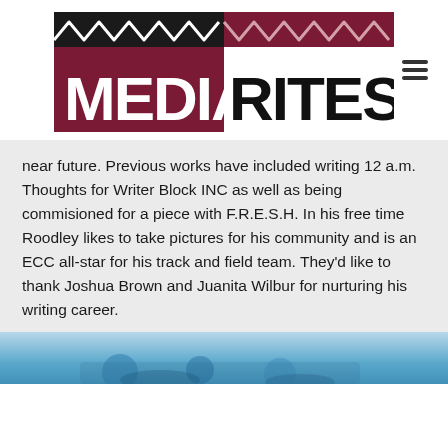[Figure (logo): MediaRites logo with zigzag pattern above text. 'MEDIA' on dark maroon/burgundy background in white stylized letters, 'RITES' in black bold letters. Zigzag/mountain pattern decorative element above both words. Hamburger menu icon to the right.]
near future. Previous works have included writing 12 a.m. Thoughts for Writer Block INC as well as being commisioned for a piece with F.R.E.S.H. In his free time Roodley likes to take pictures for his community and is an ECC all-star for his track and field team. They'd like to thank Joshua Brown and Juanita Wilbur for nurturing his writing career.
[Figure (photo): Partial photo visible at bottom of page, appears to show people or a scene with blue/teal tones.]